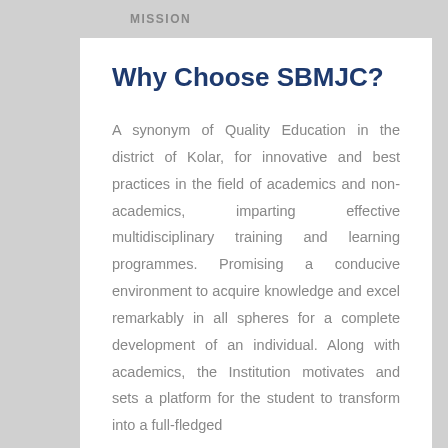MISSION
Why Choose SBMJC?
A synonym of Quality Education in the district of Kolar, for innovative and best practices in the field of academics and non-academics, imparting effective multidisciplinary training and learning programmes. Promising a conducive environment to acquire knowledge and excel remarkably in all spheres for a complete development of an individual. Along with academics, the Institution motivates and sets a platform for the student to transform into a full-fledged